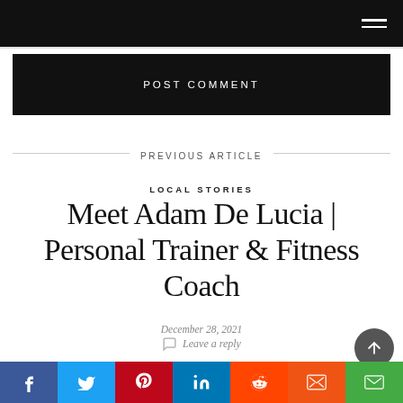Navigation bar with hamburger menu
POST COMMENT
PREVIOUS ARTICLE
LOCAL STORIES
Meet Adam De Lucia | Personal Trainer & Fitness Coach
December 28, 2021
Leave a reply
[Figure (photo): Photo strip at bottom showing outdoor scene]
Social share bar: Facebook, Twitter, Pinterest, LinkedIn, Reddit, Mix, Email